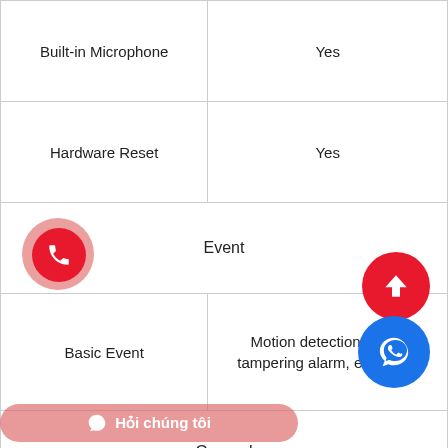| Built-in Microphone | Yes |
| Hardware Reset | Yes |
| Event |  |
| Basic Event | Motion detection, video tampering alarm, exception |
| General |  |
| Linkage Method | Upload to FTP/memory card, notify surveillance center, send email, trigger recording, trigger … |
| Camera Material | Aluminum alloy body |